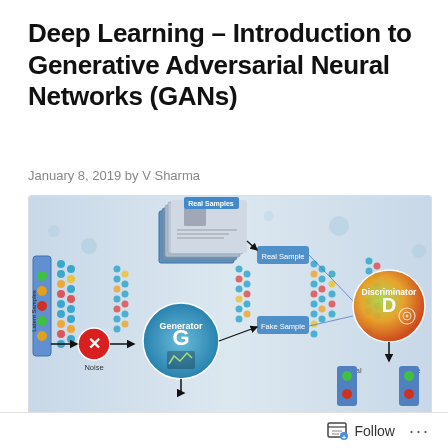Deep Learning – Introduction to Generative Adversarial Neural Networks (GANs)
January 8, 2019 by V Sharma
[Figure (schematic): GAN architecture diagram showing Latent Samples input, Noise, a Generator (G) circle, Fake Sample output, Real Samples stack, Real Sample path, a Discriminator (D) circle with Real/Fake outputs, and neural network node layers connecting components with colored nodes (blue/orange/red/green/yellow).]
Generative Adversarial Networks (GANs) – A very young family